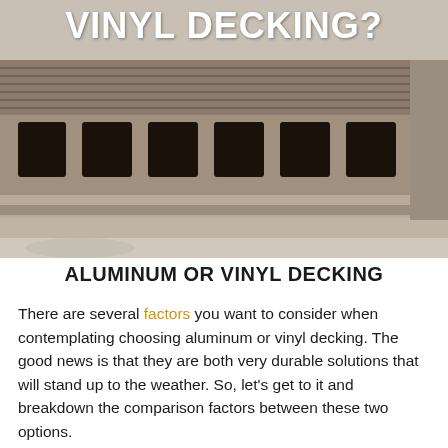[Figure (photo): Close-up photograph of vinyl or composite decking boards showing hollow rectangular cross-sections from the end, with ridged top surface, in brown/grey tones, on a light background.]
VINYL DECKING?
ALUMINUM OR VINYL DECKING
There are several factors you want to consider when contemplating choosing aluminum or vinyl decking. The good news is that they are both very durable solutions that will stand up to the weather. So, let's get to it and breakdown the comparison factors between these two options.